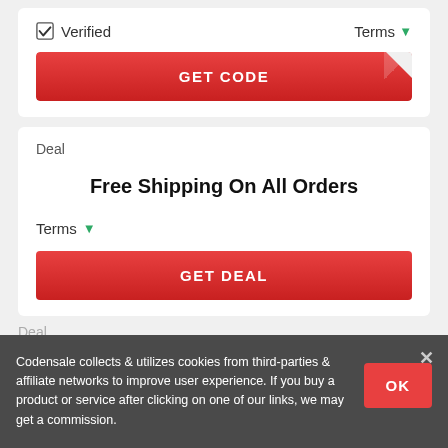✔ Verified    Terms ▾
GET CODE
Deal
Free Shipping On All Orders
Terms ▾
GET DEAL
Deal
Deal — Up to 70% Off On Fashion Sale
Codensale collects & utilizes cookies from third-parties & affiliate networks to improve user experience. If you buy a product or service after clicking on one of our links, we may get a commission.
OK